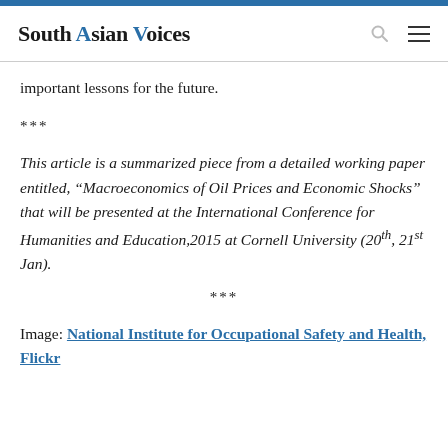South Asian Voices
important lessons for the future.
***
This article is a summarized piece from a detailed working paper entitled, “Macroeconomics of Oil Prices and Economic Shocks” that will be presented at the International Conference for Humanities and Education,2015 at Cornell University (20th, 21st Jan).
***
Image: National Institute for Occupational Safety and Health, Flickr